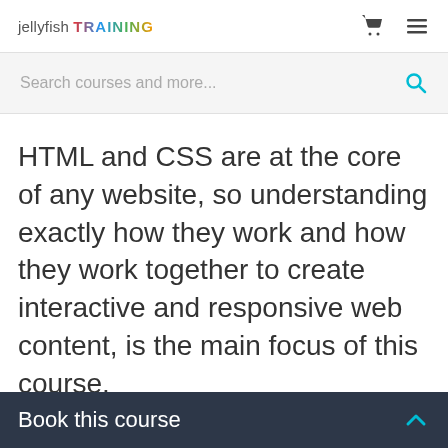jellyfish TRAINING
Search courses and more...
HTML and CSS are at the core of any website, so understanding exactly how they work and how they work together to create interactive and responsive web content, is the main focus of this course.
During the two days, we'll build up your knowledge in
Book this course